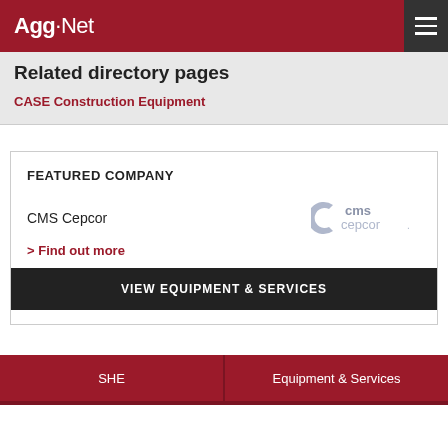Agg-Net
Related directory pages
CASE Construction Equipment
FEATURED COMPANY
CMS Cepcor
> Find out more
VIEW EQUIPMENT & SERVICES
SHE | Equipment & Services